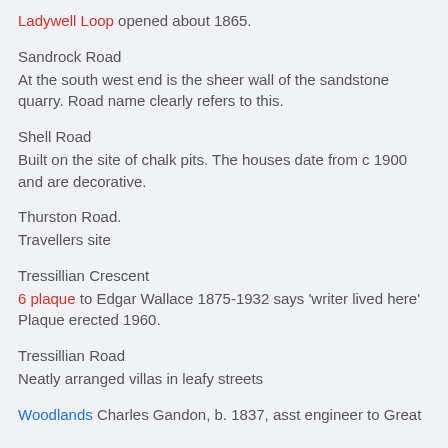Ladywell Loop opened about 1865.
Sandrock Road
At the south west end is the sheer wall of the sandstone quarry. Road name clearly refers to this.
Shell Road
Built on the site of chalk pits. The houses date from c 1900 and are decorative.
Thurston Road.
Travellers site
Tressillian Crescent
6 plaque to Edgar Wallace 1875-1932 says 'writer lived here' Plaque erected 1960.
Tressillian Road
Neatly arranged villas in leafy streets
Woodlands Charles Gandon, b. 1837, asst engineer to Great